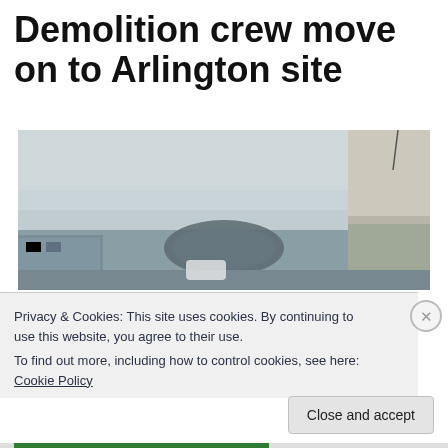Demolition crew move on to Arlington site
[Figure (photo): Photograph of a demolition site showing industrial buildings and a large arched roof structure under an overcast sky]
Privacy & Cookies: This site uses cookies. By continuing to use this website, you agree to their use.
To find out more, including how to control cookies, see here: Cookie Policy
Close and accept